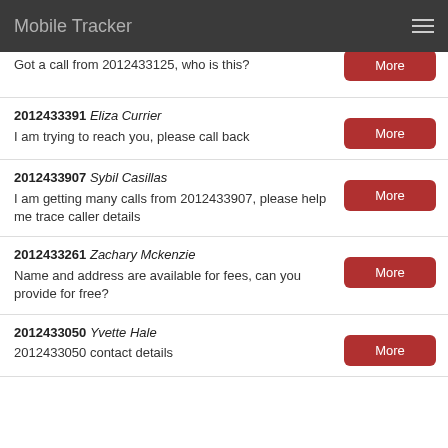Mobile Tracker
Got a call from 2012433125, who is this?
2012433391 Eliza Currier
I am trying to reach you, please call back
2012433907 Sybil Casillas
I am getting many calls from 2012433907, please help me trace caller details
2012433261 Zachary Mckenzie
Name and address are available for fees, can you provide for free?
2012433050 Yvette Hale
2012433050 contact details